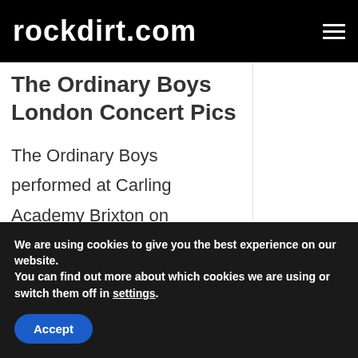rockdirt.com
The Ordinary Boys London Concert Pics
The Ordinary Boys performed at Carling Academy Brixton on Saturday (March 25) in London, England. Check out
We are using cookies to give you the best experience on our website.
You can find out more about which cookies we are using or switch them off in settings.
Accept